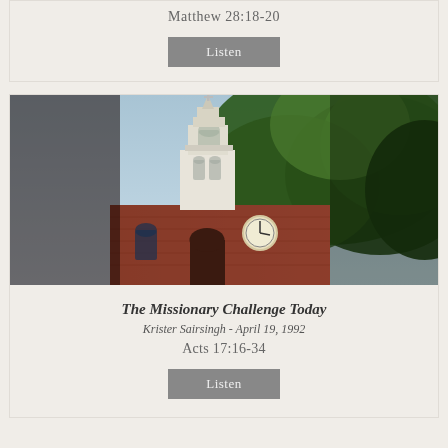Matthew 28:18-20
Listen
[Figure (photo): Exterior photograph of a historic red-brick church with a tall white steeple/bell tower and large green trees in the foreground, photographed from below against a light blue sky.]
The Missionary Challenge Today
Krister Sairsingh - April 19, 1992
Acts 17:16-34
Listen